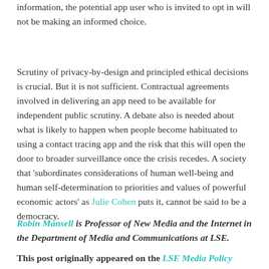information, the potential app user who is invited to opt in will not be making an informed choice.
Scrutiny of privacy-by-design and principled ethical decisions is crucial. But it is not sufficient. Contractual agreements involved in delivering an app need to be available for independent public scrutiny. A debate also is needed about what is likely to happen when people become habituated to using a contact tracing app and the risk that this will open the door to broader surveillance once the crisis recedes. A society that 'subordinates considerations of human well-being and human self-determination to priorities and values of powerful economic actors' as Julie Cohen puts it, cannot be said to be a democracy.
Robin Mansell is Professor of New Media and the Internet in the Department of Media and Communications at LSE.
This post originally appeared on the LSE Media Policy